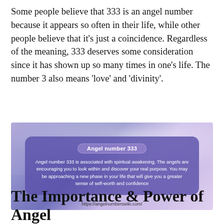Some people believe that 333 is an angel number because it appears so often in their life, while other people believe that it’s just a coincidence. Regardless of the meaning, 333 deserves some consideration since it has shown up so many times in one’s life. The number 3 also means ‘love’ and ‘divinity’.
[Figure (infographic): Image with purple/blue cloudy sky background containing a card titled 'Angel number 333' with text: 'Angel number 333 is associated with spiritual awakening. The angels are encouraging you to look within and discover your real purpose. You may be approaching a new phase in your life that will give you a greater sense of self-worth and confidence'. URL: https://angelnumberswiki.com/]
The Importance & Power of Angel